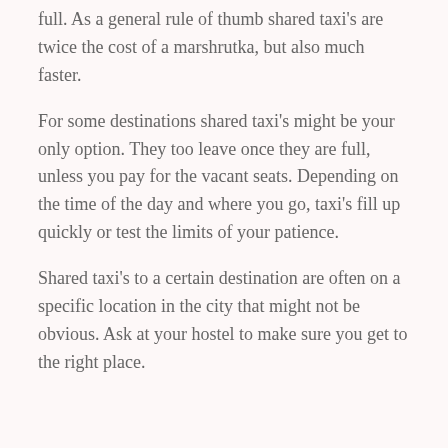full. As a general rule of thumb shared taxi's are twice the cost of a marshrutka, but also much faster.
For some destinations shared taxi's might be your only option. They too leave once they are full, unless you pay for the vacant seats. Depending on the time of the day and where you go, taxi's fill up quickly or test the limits of your patience.
Shared taxi's to a certain destination are often on a specific location in the city that might not be obvious. Ask at your hostel to make sure you get to the right place.